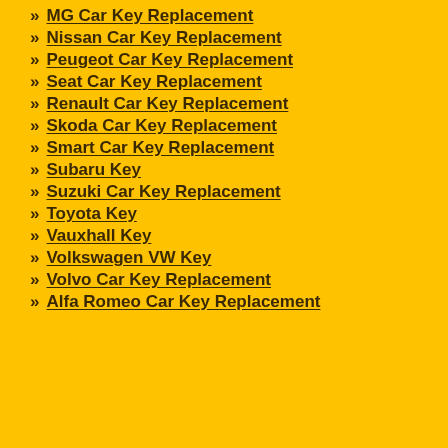MG Car Key Replacement
Nissan Car Key Replacement
Peugeot Car Key Replacement
Seat Car Key Replacement
Renault Car Key Replacement
Skoda Car Key Replacement
Smart Car Key Replacement
Subaru Key
Suzuki Car Key Replacement
Toyota Key
Vauxhall Key
Volkswagen VW Key
Volvo Car Key Replacement
Alfa Romeo Car Key Replacement